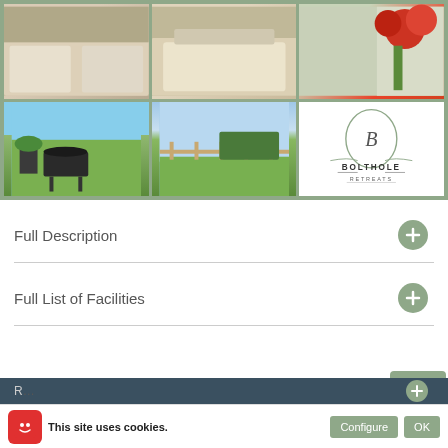[Figure (photo): Photo grid of Bolthole Retreats: top row shows bedding/pillows left, bedding/pillows center, flowers right; bottom row shows BBQ/patio left, green field/fence center, Bolthole Retreats logo right]
Full Description
Full List of Facilities
BACK TO TOP
R...
This site uses cookies.
Configure
OK